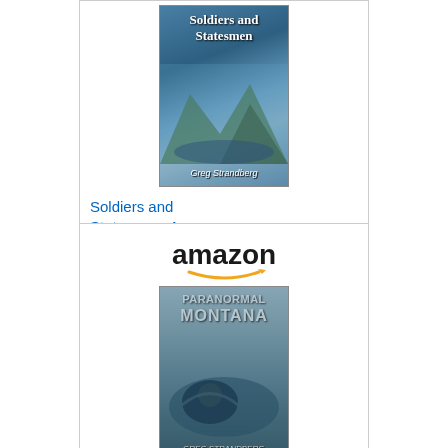[Figure (illustration): Book cover: Soldiers and Statesmen by Greg Strandberg, showing mountain landscape with trees and lake]
Soldiers and Statesmen: A...
$7.00
[Figure (logo): Amazon Shop now button with Amazon 'a' icon on dark background and golden yellow background]
[Figure (logo): Amazon logo with smile arrow underneath]
[Figure (illustration): Book cover: Paranormal Montana: The... showing a lake monster in foggy water]
Paranormal Montana: The...
$4.99
[Figure (logo): Amazon Shop now button with Amazon 'a' icon on dark background and golden yellow background]